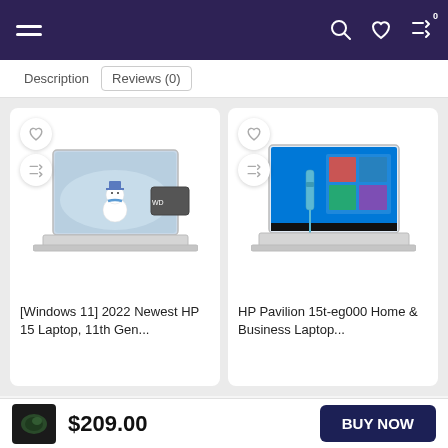Navigation bar with menu, search, wishlist, compare icons
Description  Reviews (0)
[Figure (screenshot): Product card: [Windows 11] 2022 Newest HP 15 Laptop, 11th Gen... with laptop image showing snowman wallpaper and WD drive]
[Figure (screenshot): Product card: HP Pavilion 15t-eg000 Home & Business Laptop... with laptop image showing Windows 10 desktop]
[Windows 11] 2022 Newest HP 15 Laptop, 11th Gen...
HP Pavilion 15t-eg000 Home & Business Laptop...
$209.00
BUY NOW